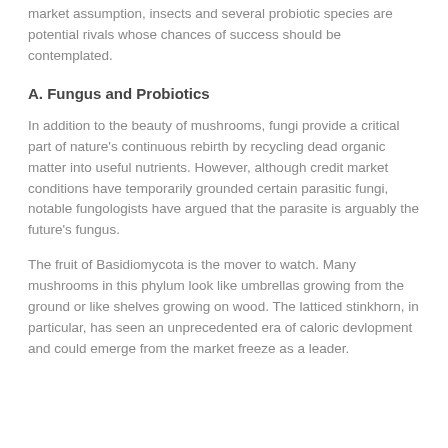market assumption, insects and several probiotic species are potential rivals whose chances of success should be contemplated.
A. Fungus and Probiotics
In addition to the beauty of mushrooms, fungi provide a critical part of nature's continuous rebirth by recycling dead organic matter into useful nutrients. However, although credit market conditions have temporarily grounded certain parasitic fungi, notable fungologists have argued that the parasite is arguably the future's fungus.
The fruit of Basidiomycota is the mover to watch. Many mushrooms in this phylum look like umbrellas growing from the ground or like shelves growing on wood. The latticed stinkhorn, in particular, has seen an unprecedented era of caloric devlopment and could emerge from the market freeze as a leader.